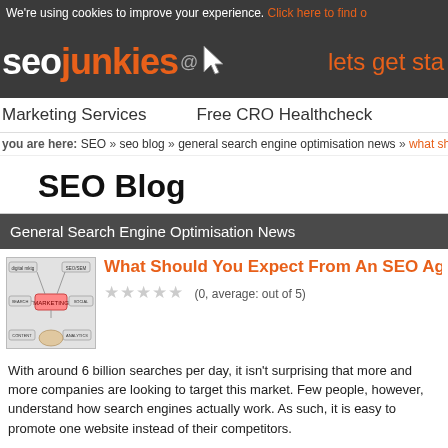We're using cookies to improve your experience. Click here to find out more.
[Figure (logo): SEO Junkies logo with cursor icon and tagline 'lets get sta...']
Marketing Services   Free CRO Healthcheck
you are here: SEO » seo blog » general search engine optimisation news » what should you...
SEO Blog
General Search Engine Optimisation News
[Figure (photo): Thumbnail image showing a marketing diagram with 'MARKETING' at center and arrows to related terms]
What Should You Expect From An SEO Agen...
(0, average: out of 5)
With around 6 billion searches per day, it isn't surprising that more and more companies are looking to target this market. Few people, however, understand how search engines actually work. As such, it is easy to promote one website instead of their competitors.